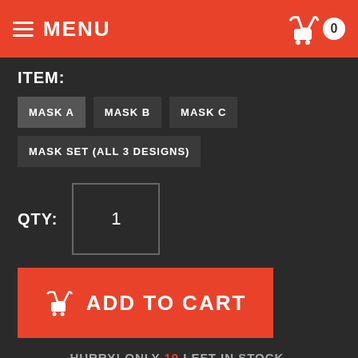MENU
ITEM:
MASK A
MASK B
MASK C
MASK SET (ALL 3 DESIGNS)
QTY: 1
ADD TO CART
HURRY! ONLY 19 LEFT IN STOCK.
0 DAYS  19 HOURS  49 MINUTES  12 SECONDS